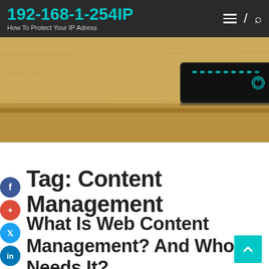192-168-1-254IP — How To Protect Your IP Adress
[Figure (screenshot): Screenshot of a network router/switch device placed on a wooden desk surface, with teal LED indicator lights and a power button visible]
Tag: Content Management
What Is Web Content Management? And Who Needs It?